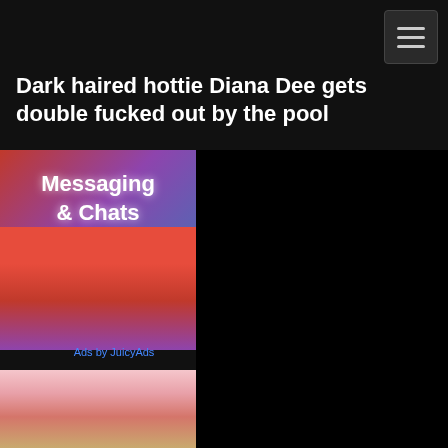Dark haired hottie Diana Dee gets double fucked out by the pool
[Figure (illustration): Advertisement banner with text 'Messaging & Chats' over a red/purple/blue abstract background with swirling shapes]
Ads by JuicyAds
[Figure (photo): Partial photo of two women's faces at the bottom of the page]